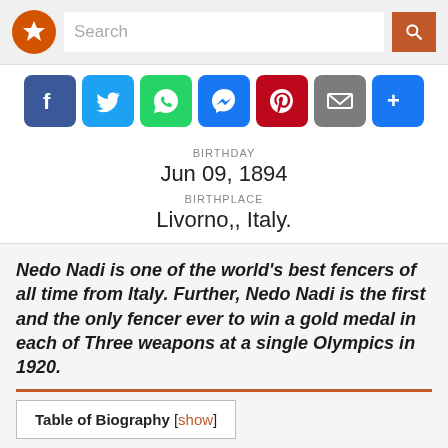[Figure (screenshot): Search bar with star logo, text input field, and orange search button]
[Figure (infographic): Social share icons: Facebook, Twitter, WhatsApp, Messenger, Pinterest, Email, More]
BIRTHDAY
Jun 09, 1894
BIRTHPLACE
Livorno,, Italy.
Nedo Nadi is one of the world's best fencers of all time from Italy. Further, Nedo Nadi is the first and the only fencer ever to win a gold medal in each of Three weapons at a single Olympics in 1920.
Table of Biography [show]